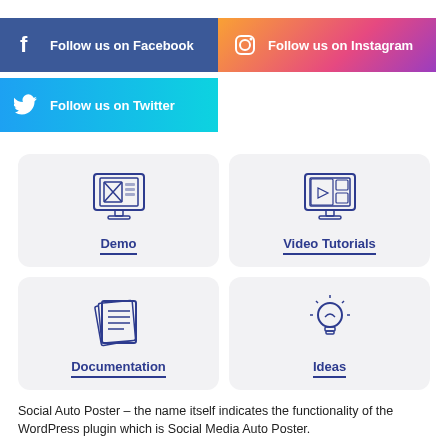[Figure (infographic): Facebook follow button banner with Facebook icon and text 'Follow us on Facebook' on blue background]
[Figure (infographic): Instagram follow button banner with Instagram icon and text 'Follow us on Instagram' on gradient pink/orange background]
[Figure (infographic): Twitter follow button banner with Twitter bird icon and text 'Follow us on Twitter' on cyan/blue gradient background]
[Figure (infographic): Four icon boxes: Demo (computer/webpage icon), Video Tutorials (monitor with play button), Documentation (stacked documents icon), Ideas (lightbulb icon)]
Social Auto Poster – the name itself indicates the functionality of the WordPress plugin which is Social Media Auto Poster.